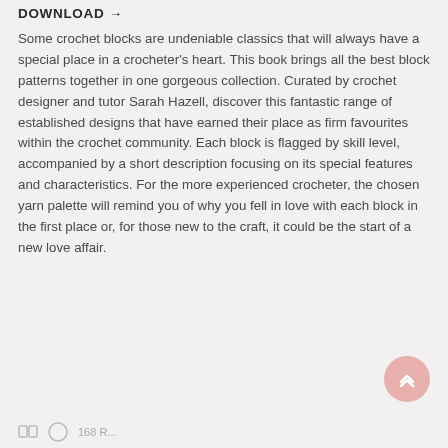DOWNLOAD →
Some crochet blocks are undeniable classics that will always have a special place in a crocheter's heart. This book brings all the best block patterns together in one gorgeous collection. Curated by crochet designer and tutor Sarah Hazell, discover this fantastic range of established designs that have earned their place as firm favourites within the crochet community. Each block is flagged by skill level, accompanied by a short description focusing on its special features and characteristics. For the more experienced crocheter, the chosen yarn palette will remind you of why you fell in love with each block in the first place or, for those new to the craft, it could be the start of a new love affair.